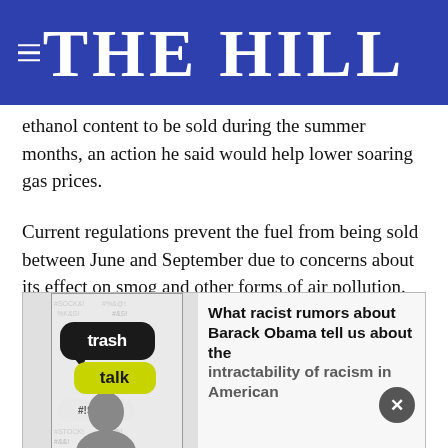THE HILL
ethanol content to be sold during the summer months, an action he said would help lower soaring gas prices.
Current regulations prevent the fuel from being sold between June and September due to concerns about its effect on smog and other forms of air pollution.
[Figure (illustration): Advertisement box with book cover of 'trash talk' and text: What racist rumors about Barack Obama tell us about the intractability of racism in American]
What racist rumors about Barack Obama tell us about the intractability of racism in American